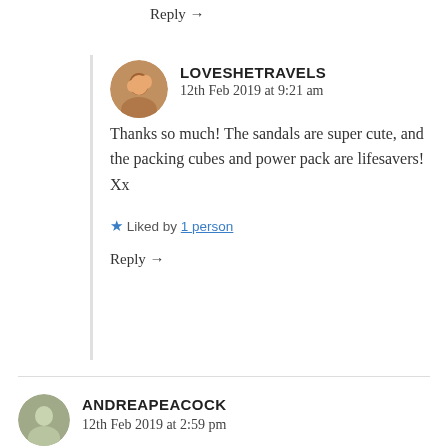Reply →
LOVESHETRAVELS
12th Feb 2019 at 9:21 am
Thanks so much! The sandals are super cute, and the packing cubes and power pack are lifesavers! Xx
★ Liked by 1 person
Reply →
ANDREAPEACOCK
12th Feb 2019 at 2:59 pm